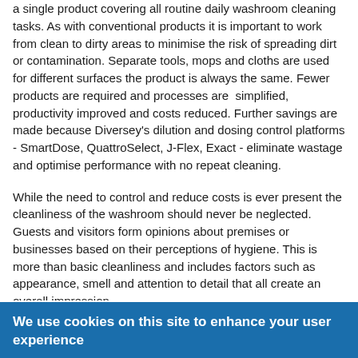a single product covering all routine daily washroom cleaning tasks. As with conventional products it is important to work from clean to dirty areas to minimise the risk of spreading dirt or contamination. Separate tools, mops and cloths are used for different surfaces the product is always the same. Fewer products are required and processes are  simplified, productivity improved and costs reduced. Further savings are made because Diversey's dilution and dosing control platforms - SmartDose, QuattroSelect, J-Flex, Exact - eliminate wastage and optimise performance with no repeat cleaning.
While the need to control and reduce costs is ever present the cleanliness of the washroom should never be neglected. Guests and visitors form opinions about premises or businesses based on their perceptions of hygiene. This is more than basic cleanliness and includes factors such as appearance, smell and attention to detail that all create an overall impression.
Research by Diversey and others has shown a link between perceptions of hygiene and customer behaviour. In restaurants, for example, around two thirds of people who enter a dirty premises will leave immediately or before completing their meal. Either way
We use cookies on this site to enhance your user experience